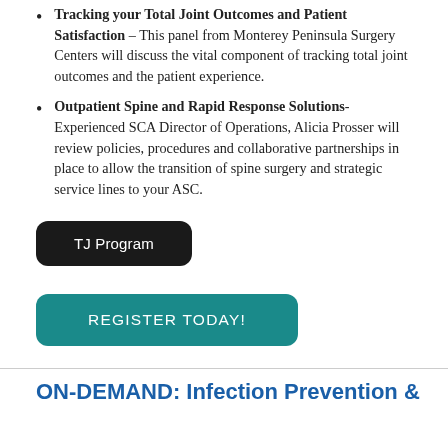Tracking your Total Joint Outcomes and Patient Satisfaction – This panel from Monterey Peninsula Surgery Centers will discuss the vital component of tracking total joint outcomes and the patient experience.
Outpatient Spine and Rapid Response Solutions- Experienced SCA Director of Operations, Alicia Prosser will review policies, procedures and collaborative partnerships in place to allow the transition of spine surgery and strategic service lines to your ASC.
TJ Program
REGISTER TODAY!
ON-DEMAND: Infection Prevention &